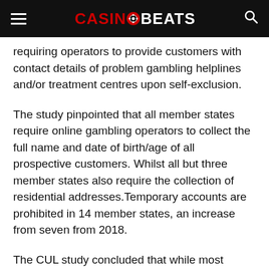CasinoBeats
requiring operators to provide customers with contact details of problem gambling helplines and/or treatment centres upon self-exclusion.
The study pinpointed that all member states require online gambling operators to collect the full name and date of birth/age of all prospective customers. Whilst all but three member states also require the collection of residential addresses.Temporary accounts are prohibited in 14 member states, an increase from seven from 2018.
The CUL study concluded that while most members have adopted similar approaches towards consumer protection, there are “significant differences” in how national rules are designed or implemented and in some countries specific consumer protection rules for online gambling are missing.